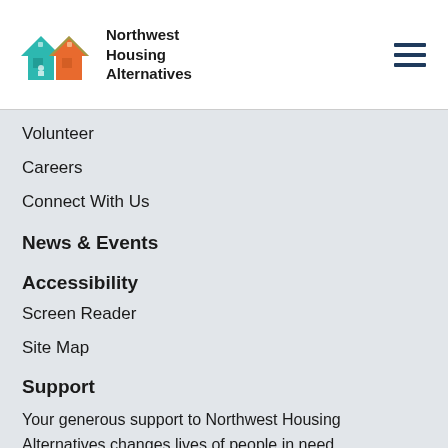[Figure (logo): Northwest Housing Alternatives logo with colorful house icons]
Volunteer
Careers
Connect With Us
News & Events
Accessibility
Screen Reader
Site Map
Support
Your generous support to Northwest Housing Alternatives changes lives of people in need.
DONATE